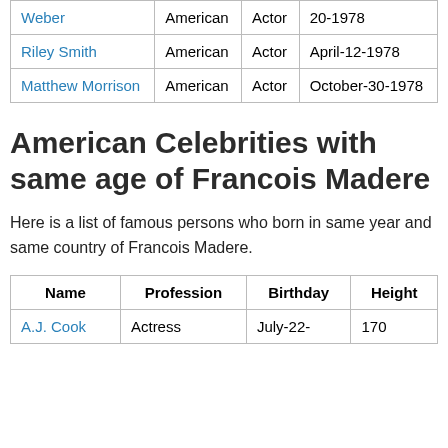| Weber | American | Actor | 20-1978 |
| Riley Smith | American | Actor | April-12-1978 |
| Matthew Morrison | American | Actor | October-30-1978 |
American Celebrities with same age of Francois Madere
Here is a list of famous persons who born in same year and same country of Francois Madere.
| Name | Profession | Birthday | Height |
| --- | --- | --- | --- |
| A.J. Cook | Actress | July-22- | 170 |